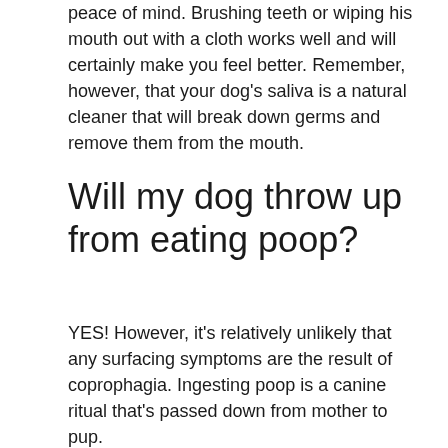peace of mind. Brushing teeth or wiping his mouth out with a cloth works well and will certainly make you feel better. Remember, however, that your dog's saliva is a natural cleaner that will break down germs and remove them from the mouth.
Will my dog throw up from eating poop?
YES! However, it's relatively unlikely that any surfacing symptoms are the result of coprophagia. Ingesting poop is a canine ritual that's passed down from mother to pup.